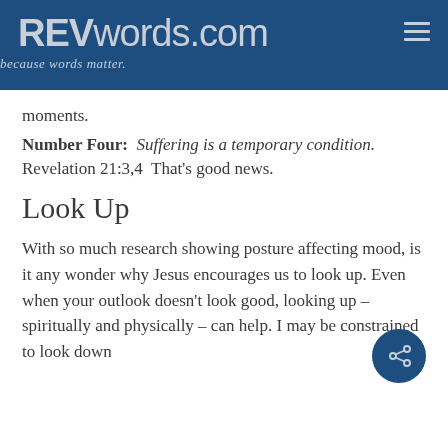REVwords.com — because words matter.
moments.
Number Four: Suffering is a temporary condition. Revelation 21:3,4 That's good news.
Look Up
With so much research showing posture affecting mood, is it any wonder why Jesus encourages us to look up. Even when your outlook doesn't look good, looking up – spiritually and physically – can help. I may be constrained to look down